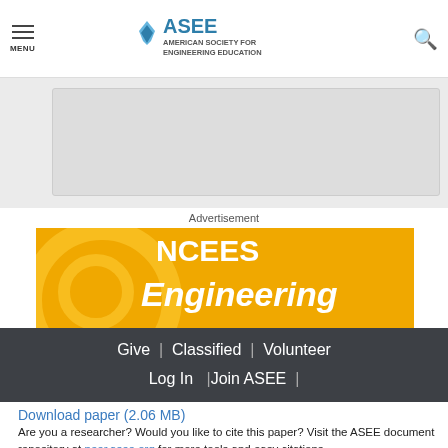MENU | ASEE AMERICAN SOCIETY FOR ENGINEERING EDUCATION
[Figure (other): Grey content box partially visible at top]
Advertisement
[Figure (other): NCEES Engineering advertisement banner with yellow background and gear graphic]
Give | Classified | Volunteer  Log In  |Join ASEE |
Download paper (2.06 MB)
Are you a researcher? Would you like to cite this paper? Visit the ASEE document repository at peer.asee.org for more tools and easy citations.
» Download paper